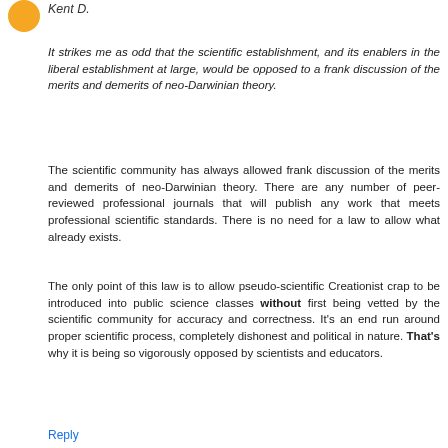Kent D.
It strikes me as odd that the scientific establishment, and its enablers in the liberal establishment at large, would be opposed to a frank discussion of the merits and demerits of neo-Darwinian theory.
The scientific community has always allowed frank discussion of the merits and demerits of neo-Darwinian theory. There are any number of peer-reviewed professional journals that will publish any work that meets professional scientific standards. There is no need for a law to allow what already exists.
The only point of this law is to allow pseudo-scientific Creationist crap to be introduced into public science classes without first being vetted by the scientific community for accuracy and correctness. It's an end run around proper scientific process, completely dishonest and political in nature. That's why it is being so vigorously opposed by scientists and educators.
Reply